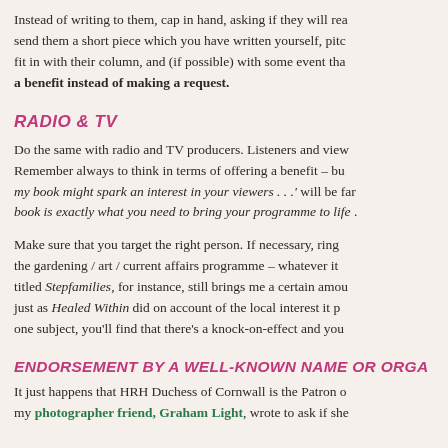Instead of writing to them, cap in hand, asking if they will read your book, send them a short piece which you have written yourself, pitching it to fit in with their column, and (if possible) with some event that is news. You are offering a benefit instead of making a request.
RADIO & TV
Do the same with radio and TV producers. Listeners and viewers buy books. Remember always to think in terms of offering a benefit – but saying 'my book might spark an interest in your viewers . . .' will be far less effective than 'my book is exactly what you need to bring your programme to life . . .'
Make sure that you target the right person. If necessary, ring to find out who produces the gardening / art / current affairs programme – whatever it may be. My book titled Stepfamilies, for instance, still brings me a certain amount of publicity, just as Healed Within did on account of the local interest it provoked. Once you cover one subject, you'll find that there's a knock-on-effect and you'll be asked about others.
ENDORSEMENT BY A WELL-KNOWN NAME OR ORGANISATION
It just happens that HRH Duchess of Cornwall is the Patron of my charity and my photographer friend, Graham Light, wrote to ask if she would endorse my book.